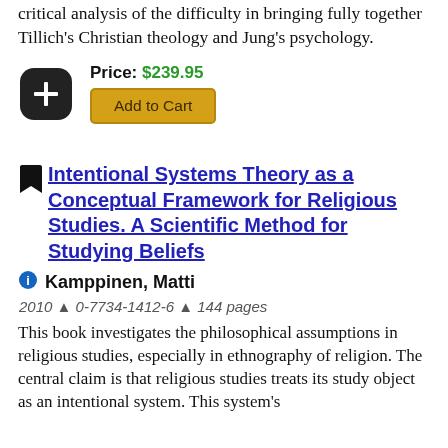critical analysis of the difficulty in bringing fully together Tillich's Christian theology and Jung's psychology.
Price: $239.95
Add to Cart
Intentional Systems Theory as a Conceptual Framework for Religious Studies. A Scientific Method for Studying Beliefs
Kamppinen, Matti
2010 ▲ 0-7734-1412-6 ▲ 144 pages
This book investigates the philosophical assumptions in religious studies, especially in ethnography of religion. The central claim is that religious studies treats its study object as an intentional system. This system's